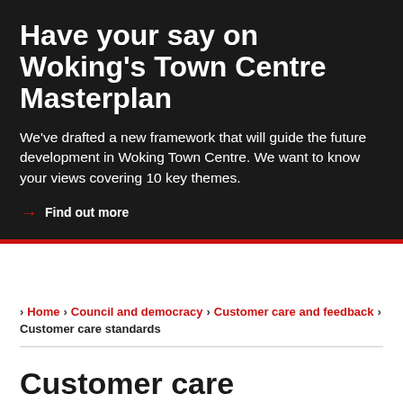Have your say on Woking's Town Centre Masterplan
We've drafted a new framework that will guide the future development in Woking Town Centre. We want to know your views covering 10 key themes.
→ Find out more
> Home > Council and democracy > Customer care and feedback > Customer care standards
Customer care standards